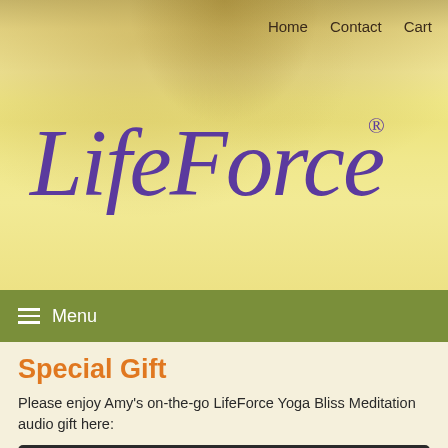Home   Contact   Cart
[Figure (logo): LifeForce Yoga stylized italic purple script logo with registered trademark symbol]
Menu
Special Gift
Please enjoy Amy's on-the-go LifeForce Yoga Bliss Meditation audio gift here:
[Figure (other): Audio player with play button, 00:00 time display, progress bar, and 00:00 end time on dark background]